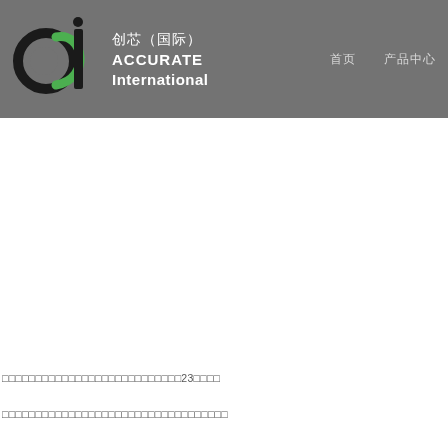[Figure (logo): ACI logo - circular design with black 'a', green 'c', and black 'i' letters on grey background]
创芯（国际）ACCURATE International
首页    产品中心
□□□□□□□□□□□□□□□□□□□□□□□□□□□23□□□□
□□□□□□□□□□□□□□□□□□□□□□□□□□□□□□□□□□